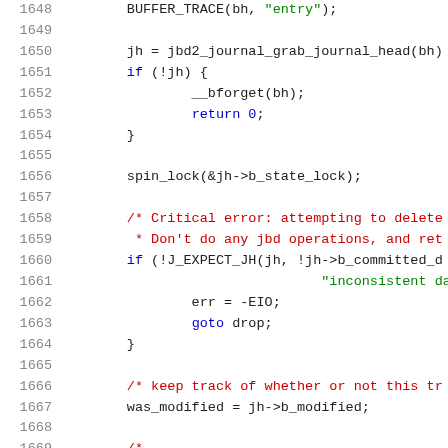Source code lines 1648-1669, C kernel code with syntax highlighting
[Figure (screenshot): Syntax-highlighted C source code showing lines 1648-1669 of a Linux kernel journal buffer management function, featuring function calls, conditionals, error handling with goto, and comments about critical errors and data consistency.]